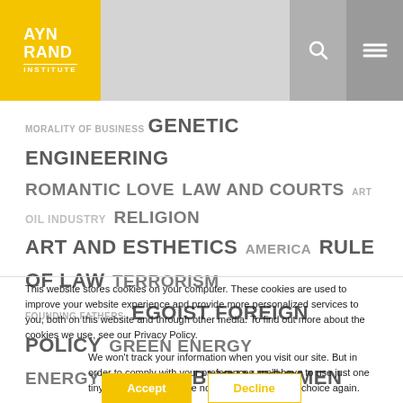[Figure (logo): Ayn Rand Institute logo in yellow box with white text]
MORALITY OF BUSINESS GENETIC ENGINEERING ROMANTIC LOVE LAW AND COURTS ART OIL INDUSTRY RELIGION ART AND ESTHETICS AMERICA RULE OF LAW TERRORISM FOUNDING FATHERS EGOIST FOREIGN POLICY GREEN ENERGY ENERGY GMOMONDAY BUSINESSMEN BARACK OBAMA MEDICARE CAMPAIGN FINANCE HAMAS
This website stores cookies on your computer. These cookies are used to improve your website experience and provide more personalized services to you, both on this website and through other media. To find out more about the cookies we use, see our Privacy Policy.
We won't track your information when you visit our site. But in order to comply with your preferences, we'll have to use just one tiny cookie so that you're not asked to make this choice again.
Accept
Decline